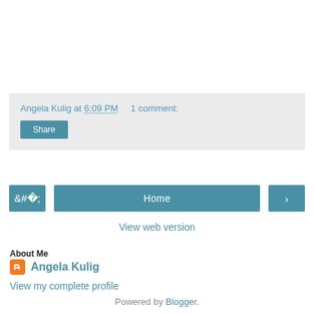Angela Kulig at 6:09 PM    1 comment:
Share
‹
Home
›
View web version
About Me
Angela Kulig
View my complete profile
Powered by Blogger.